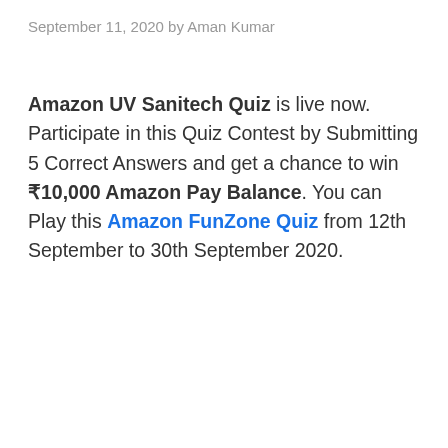September 11, 2020 by Aman Kumar
Amazon UV Sanitech Quiz is live now. Participate in this Quiz Contest by Submitting 5 Correct Answers and get a chance to win ₹10,000 Amazon Pay Balance. You can Play this Amazon FunZone Quiz from 12th September to 30th September 2020.